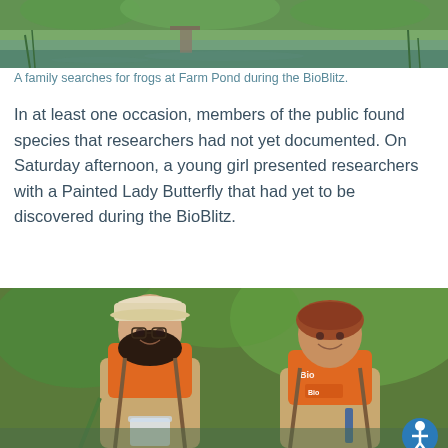[Figure (photo): A family searches for frogs at a pond with green vegetation in the background during the BioBlitz event.]
A family searches for frogs at Farm Pond during the BioBlitz.
In at least one occasion, members of the public found species that researchers had not yet documented. On Saturday afternoon, a young girl presented researchers with a Painted Lady Butterfly that had yet to be discovered during the BioBlitz.
[Figure (photo): Two young people wearing orange BioBlitz t-shirts and tan waders smile at the camera while conducting research near a pond. One holds a collection container.]